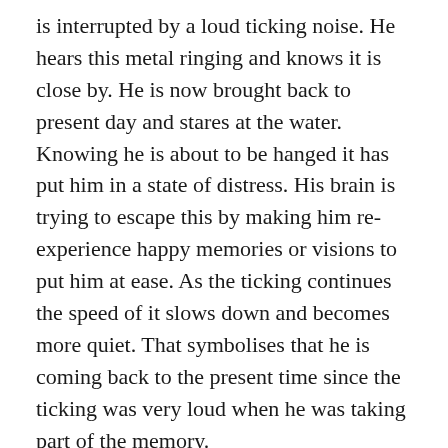is interrupted by a loud ticking noise. He hears this metal ringing and knows it is close by. He is now brought back to present day and stares at the water. Knowing he is about to be hanged it has put him in a state of distress. His brain is trying to escape this by making him re-experience happy memories or visions to put him at ease. As the ticking continues the speed of it slows down and becomes more quiet. That symbolises that he is coming back to the present time since the ticking was very loud when he was taking part of the memory.
When Payton Farquhar begins to hallucinate he does not come back to the present time. He believes he is in a timeless realm or alternate time. He creates his own ending to his situation and enters a space that is not life or death. When he comes to this in-between place his